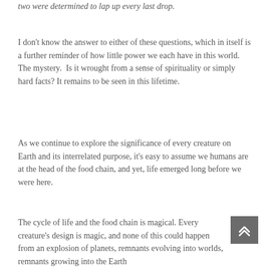two were determined to lap up every last drop.
I don't know the answer to either of these questions, which in itself is a further reminder of how little power we each have in this world. The mystery.  Is it wrought from a sense of spirituality or simply hard facts? It remains to be seen in this lifetime.
As we continue to explore the significance of every creature on Earth and its interrelated purpose, it's easy to assume we humans are at the head of the food chain, and yet, life emerged long before we were here.
The cycle of life and the food chain is magical. Every creature's design is magic, and none of this could happen from an explosion of planets, remnants evolving into worlds, remnants growing into the Earth